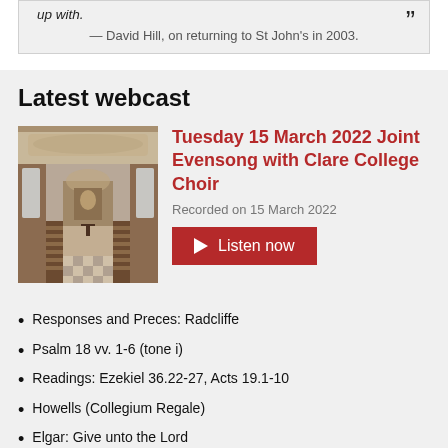up with.
— David Hill, on returning to St John's in 2003.
Latest webcast
[Figure (photo): Interior of a college chapel with ornate ceiling, wooden choir stalls, and an altar with a painting at the far end.]
Tuesday 15 March 2022 Joint Evensong with Clare College Choir
Recorded on 15 March 2022
Listen now
Responses and Preces: Radcliffe
Psalm 18 vv. 1-6 (tone i)
Readings: Ezekiel 36.22-27, Acts 19.1-10
Howells (Collegium Regale)
Elgar: Give unto the Lord